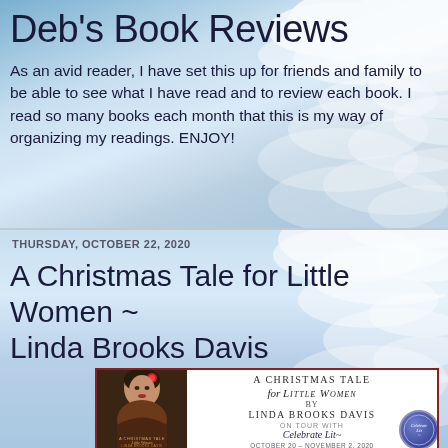Deb's Book Reviews
As an avid reader, I have set this up for friends and family to be able to see what I have read and to review each book. I read so many books each month that this is my way of organizing my readings. ENJOY!
THURSDAY, OCTOBER 22, 2020
A Christmas Tale for Little Women ~ Linda Brooks Davis
[Figure (illustration): Book tour promotional banner for 'A Christmas Tale for Little Women by Linda Brooks Davis' on tour with Celebrate Lit, October 20 - November 2, 2020. Shows book cover with a woman wearing a flower in her hair, alongside the book title and tour details.]